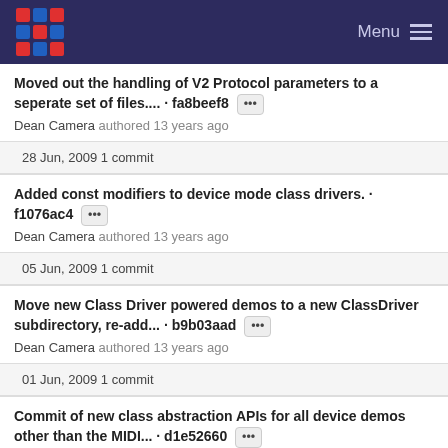Menu
Moved out the handling of V2 Protocol parameters to a seperate set of files.... · fa8beef8 [•••]
Dean Camera authored 13 years ago
28 Jun, 2009 1 commit
Added const modifiers to device mode class drivers. · f1076ac4 [•••]
Dean Camera authored 13 years ago
05 Jun, 2009 1 commit
Move new Class Driver powered demos to a new ClassDriver subdirectory, re-add... · b9b03aad [•••]
Dean Camera authored 13 years ago
01 Jun, 2009 1 commit
Commit of new class abstraction APIs for all device demos other than the MIDI... · d1e52660 [•••]
Dean Camera authored 13...